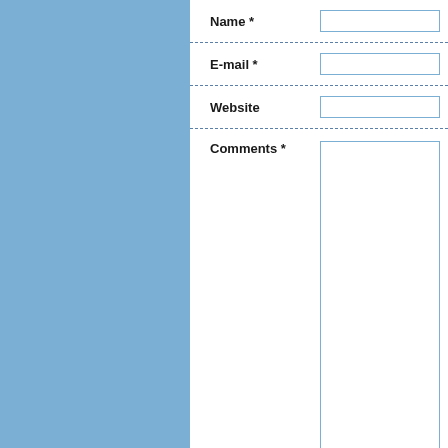Name *
E-mail *
Website
Comments *